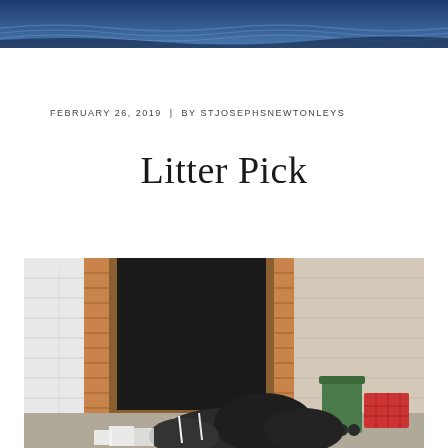[Figure (photo): Header banner with blue sky/water aerial photograph]
FEBRUARY 26, 2019  |  BY STJOSEPHSNEWTONLEYS
Litter Pick
[Figure (photo): Photograph of an outdoor area with brick building doorway, bins, black bin bags and litter on the ground]